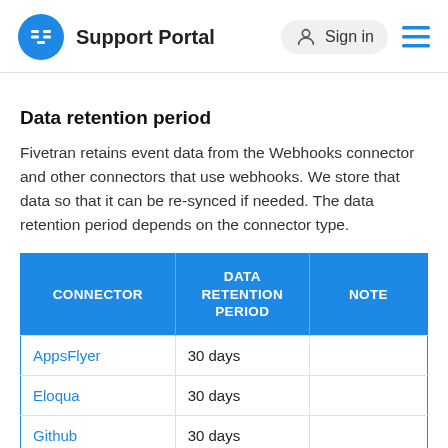Support Portal   Sign in
Data retention period
Fivetran retains event data from the Webhooks connector and other connectors that use webhooks. We store that data so that it can be re-synced if needed. The data retention period depends on the connector type.
| CONNECTOR | DATA RETENTION PERIOD | NOTE |
| --- | --- | --- |
| AppsFlyer | 30 days |  |
| Eloqua | 30 days |  |
| Github | 30 days |  |